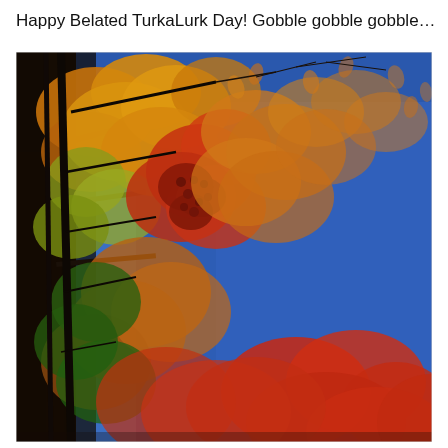Happy Belated TurkaLurk Day! Gobble gobble gobble…
[Figure (photo): Autumn tree with orange, red, and yellow foliage against a clear deep blue sky, photographed from below looking upward. The left side shows dark tree trunks and branches. The canopy displays vivid fall colors — orange, gold, red, and some green — with clusters of red berries visible. The right side of the image is dominated by the bright blue sky.]